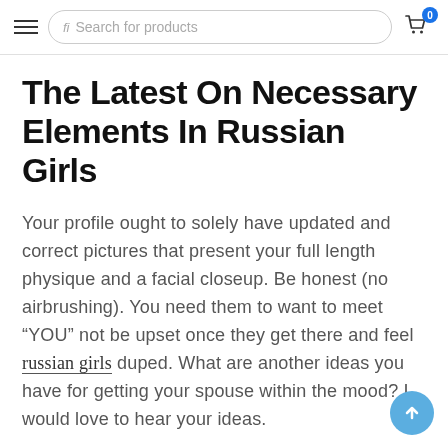Search for products | 0
The Latest On Necessary Elements In Russian Girls
Your profile ought to solely have updated and correct pictures that present your full length physique and a facial closeup. Be honest (no airbrushing). You need them to want to meet “YOU” not be upset once they get there and feel russian girls duped. What are another ideas you have for getting your spouse within the mood? I would love to hear your ideas.